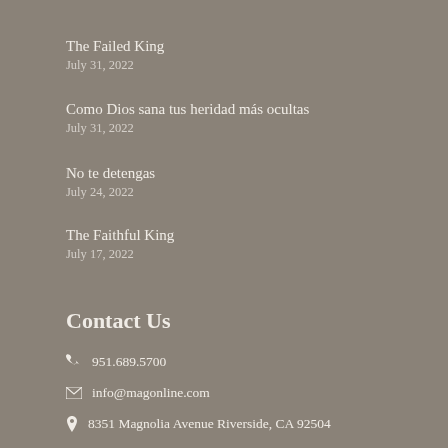The Failed King
July 31, 2022
Como Dios sana tus heridad más ocultas
July 31, 2022
No te detengas
July 24, 2022
The Faithful King
July 17, 2022
Contact Us
951.689.5700
info@magonline.com
8351 Magnolia Avenue Riverside, CA 92504